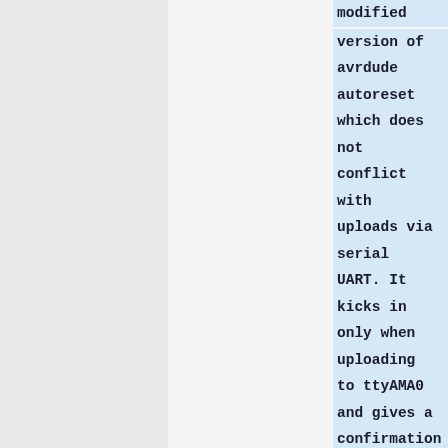modified version of avrdude autoreset which does not conflict with uploads via serial UART. It kicks in only when uploading to ttyAMA0 and gives a confirmation message to inform the user which gpio pin is being used